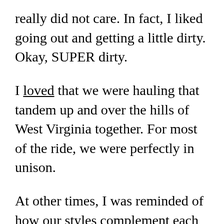really did not care. In fact, I liked going out and getting a little dirty. Okay, SUPER dirty.
I loved that we were hauling that tandem up and over the hills of West Virginia together. For most of the ride, we were perfectly in unison.
At other times, I was reminded of how our styles complement each other. Felkerino loves to push on the first part of a ride, and I totally get focused and have the mental and physical strength in the later miles. It's a combination that serves us well.